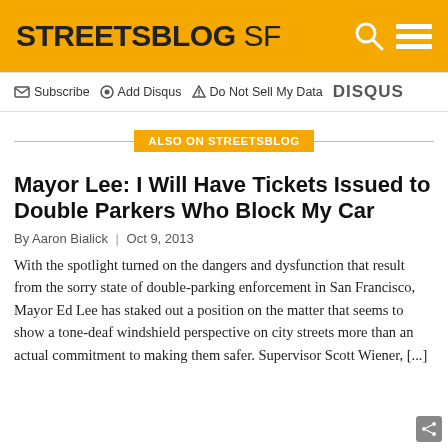STREETSBLOG SF
Subscribe  Add Disqus  Do Not Sell My Data  DISQUS
ALSO ON STREETSBLOG
Mayor Lee: I Will Have Tickets Issued to Double Parkers Who Block My Car
By Aaron Bialick | Oct 9, 2013
With the spotlight turned on the dangers and dysfunction that result from the sorry state of double-parking enforcement in San Francisco, Mayor Ed Lee has staked out a position on the matter that seems to show a tone-deaf windshield perspective on city streets more than an actual commitment to making them safer. Supervisor Scott Wiener, [...]